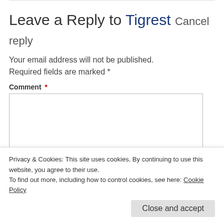Leave a Reply to Tigrest Cancel reply
Your email address will not be published. Required fields are marked *
Comment *
Privacy & Cookies: This site uses cookies. By continuing to use this website, you agree to their use.
To find out more, including how to control cookies, see here: Cookie Policy